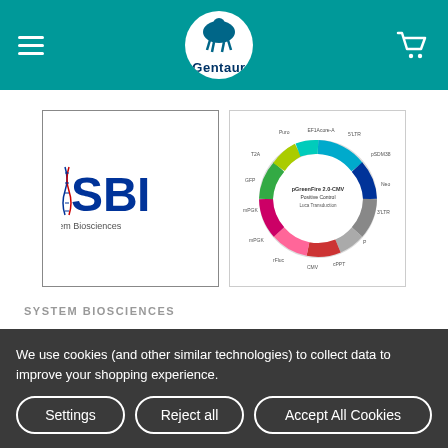Gentaur
[Figure (logo): SBI System Biosciences logo in a white square box]
[Figure (schematic): pGreenFire 2.0-CMV Positive Control circular plasmid map diagram]
SYSTEM BIOSCIENCES
pGreenFire 2.0-CMV positive control virus (pGF2-CMV-rFluc-T2A-GFP-mPGK-Puro)
Write a Review
We use cookies (and other similar technologies) to collect data to improve your shopping experience.